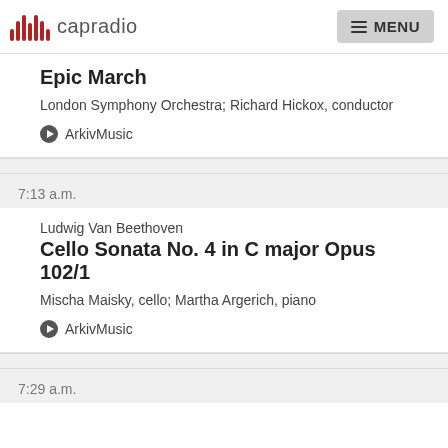capradio  MENU
Epic March
London Symphony Orchestra; Richard Hickox, conductor
ArkivMusic
7:13 a.m.
Ludwig Van Beethoven
Cello Sonata No. 4 in C major Opus 102/1
Mischa Maisky, cello; Martha Argerich, piano
ArkivMusic
7:29 a.m.